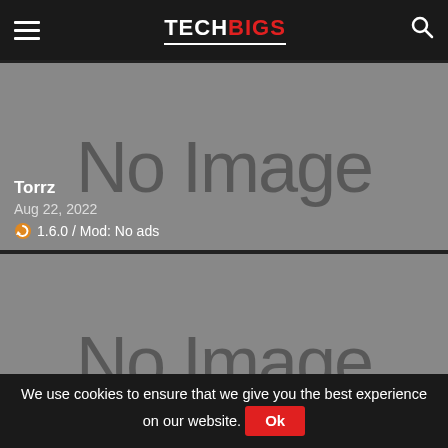TECHBIGS
[Figure (other): No Image placeholder card for Torrz app listing]
Torrz
Aug 22, 2022
1.6.0 / Mod: No ads
[Figure (other): No Image placeholder card for Pikashow app listing]
Pikashow
Aug 22, 2022
We use cookies to ensure that we give you the best experience on our website. Ok